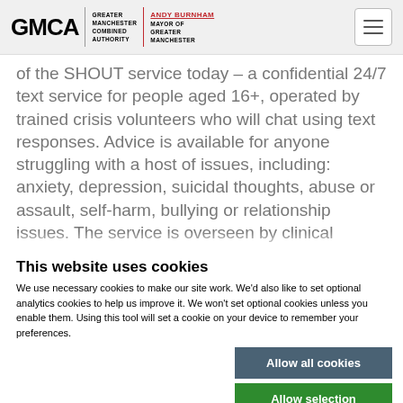GMCA GREATER MANCHESTER COMBINED AUTHORITY | ANDY BURNHAM MAYOR OF GREATER MANCHESTER
of the SHOUT service today – a confidential 24/7 text service for people aged 16+, operated by trained crisis volunteers who will chat using text responses. Advice is available for anyone struggling with a host of issues, including: anxiety, depression, suicidal thoughts, abuse or assault, self-harm, bullying or relationship issues. The service is overseen by clinical
This website uses cookies
We use necessary cookies to make our site work. We'd also like to set optional analytics cookies to help us improve it. We won't set optional cookies unless you enable them. Using this tool will set a cookie on your device to remember your preferences.
Allow all cookies
Allow selection
Use necessary cookies only